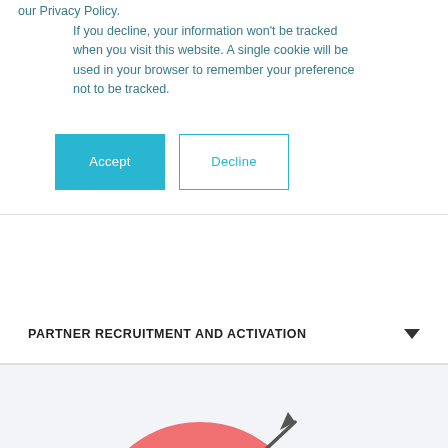our Privacy Policy.
If you decline, your information won't be tracked when you visit this website. A single cookie will be used in your browser to remember your preference not to be tracked.
[Figure (screenshot): Accept and Decline cookie consent buttons. Accept is a filled teal/cyan button; Decline is an outlined teal/cyan button.]
PARTNER RECRUITMENT AND ACTIVATION
[Figure (illustration): Bottom portion of a colorful flat illustration showing a target/bullseye with an arrow through it and a gear icon, partially visible at the bottom of the page.]